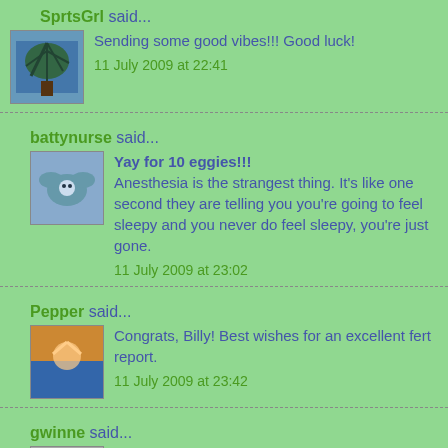SprtsGrl said...
Sending some good vibes!!! Good luck!
11 July 2009 at 22:41
battynurse said...
Yay for 10 eggies!!! Anesthesia is the strangest thing. It's like one second they are telling you you're going to feel sleepy and you never do feel sleepy, you're just gone.
11 July 2009 at 23:02
Pepper said...
Congrats, Billy! Best wishes for an excellent fert report.
11 July 2009 at 23:42
gwinne said...